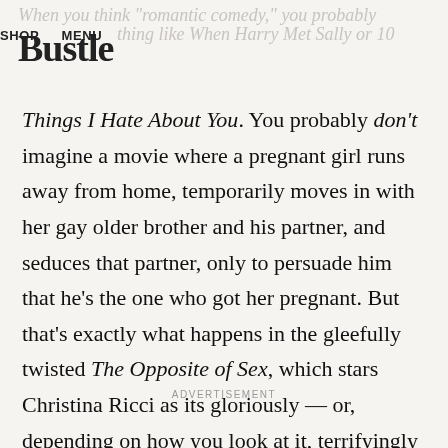Bustle | SHOP  MENU
Things I Hate About You. You probably don't imagine a movie where a pregnant girl runs away from home, temporarily moves in with her gay older brother and his partner, and seduces that partner, only to persuade him that he's the one who got her pregnant. But that's exactly what happens in the gleefully twisted The Opposite of Sex, which stars Christina Ricci as its gloriously — or, depending on how you look at it, terrifyingly — amoral heroine Dedee.
ADVERTISEMENT